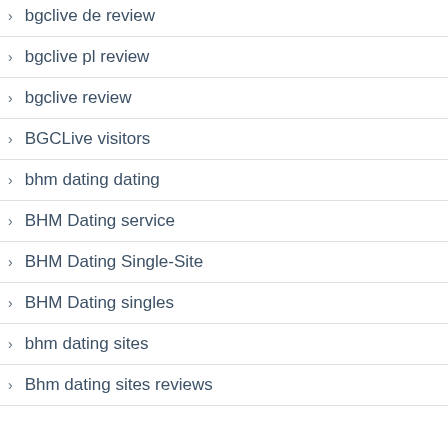bgclive de review
bgclive pl review
bgclive review
BGCLive visitors
bhm dating dating
BHM Dating service
BHM Dating Single-Site
BHM Dating singles
bhm dating sites
Bhm dating sites reviews